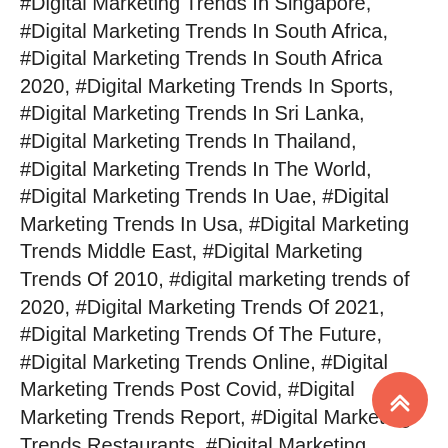#Digital Marketing Trends In Singapore, #Digital Marketing Trends In South Africa, #Digital Marketing Trends In South Africa 2020, #Digital Marketing Trends In Sports, #Digital Marketing Trends In Sri Lanka, #Digital Marketing Trends In Thailand, #Digital Marketing Trends In The World, #Digital Marketing Trends In Uae, #Digital Marketing Trends In Usa, #Digital Marketing Trends Middle East, #Digital Marketing Trends Of 2010, #digital marketing trends of 2020, #Digital Marketing Trends Of 2021, #Digital Marketing Trends Of The Future, #Digital Marketing Trends Online, #Digital Marketing Trends Post Covid, #Digital Marketing Trends Report, #Digital Marketing Trends Restaurants, #Digital Marketing Trends South Africa, #Digital Marketing Trends Study, #Digital Marketing Trends Tech, #Digital Marketing Trends That Will Affect Business, #Digital Marketing Trends Tips, #Digital Marketing Trends To Look Out For In 2021, #Digital Marketing Trends To Watch, #Digital Marketing Trends Today, #Digital Marketing Trends Top 10, #Digital Marketing Trends Tra... #Digital Marketing Trends Travel Industry, #Digital Marketing Trends Uk, #Digital Marketing Trends Virtual Summit, #Digital
[Figure (other): Orange/coral circular scroll-to-top button with double chevron up arrow icon]